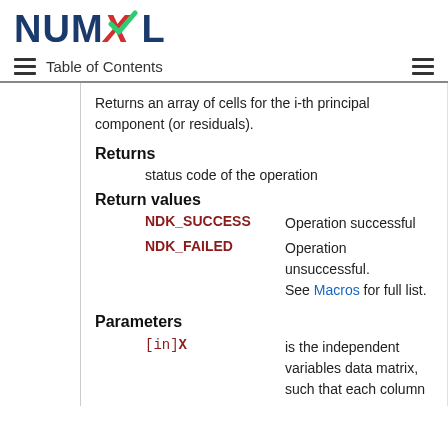[Figure (logo): NumXL logo with blue text and red X with green checkmark]
Table of Contents
Returns an array of cells for the i-th principal component (or residuals).
Returns
status code of the operation
Return values
NDK_SUCCESS  Operation successful
NDK_FAILED  Operation unsuccessful. See Macros for full list.
Parameters
[in]X  is the independent variables data matrix, such that each column